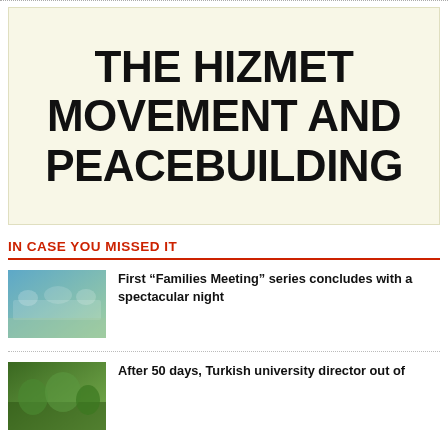[Figure (other): Large cream/off-white background with bold black text reading THE HIZMET MOVEMENT AND PEACEBUILDING]
IN CASE YOU MISSED IT
[Figure (photo): Photo of people seated at a dinner table at a Families Meeting event]
First “Families Meeting” series concludes with a spectacular night
[Figure (photo): Photo of a green outdoor scene related to Turkish university story]
After 50 days, Turkish university director out of